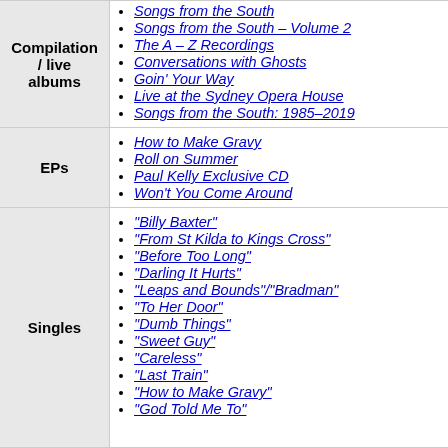| Category | Items |
| --- | --- |
| Compilation / live albums | Songs from the South; Songs from the South – Volume 2; The A – Z Recordings; Conversations with Ghosts; Goin' Your Way; Live at the Sydney Opera House; Songs from the South: 1985–2019 |
| EPs | How to Make Gravy; Roll on Summer; Paul Kelly Exclusive CD; Won't You Come Around |
| Singles | "Billy Baxter"; "From St Kilda to Kings Cross"; "Before Too Long"; "Darling It Hurts"; "Leaps and Bounds"/"Bradman"; "To Her Door"; "Dumb Things"; "Sweet Guy"; "Careless"; "Last Train"; "How to Make Gravy"; "God Told Me To" |